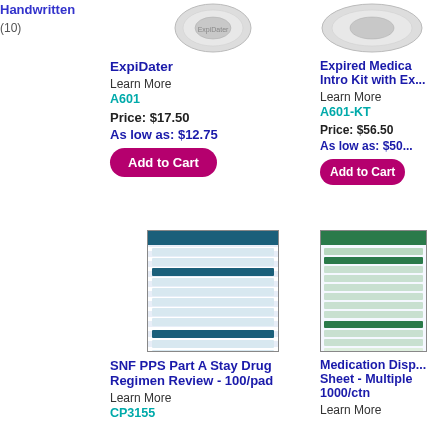Handwritten (10)
[Figure (photo): Product image for ExpiDater, circular coin-like device]
ExpiDater
Learn More
A601
Price: $17.50
As low as: $12.75
[Figure (photo): Product image for Expired Medication Intro Kit with ExpiDater, partially visible]
Expired Medication Intro Kit with Ex...
Learn More
A601-KT
Price: $56.50
As low as: $50...
[Figure (photo): SNF PPS Part A Stay Drug Regimen Review form, 100/pad]
SNF PPS Part A Stay Drug Regimen Review - 100/pad
Learn More
CP3155
[Figure (photo): Medication Dispensing Sheet - Multiple pages, 1000/ctn, partially visible]
Medication Dispensing Sheet - Multiple... 1000/ctn
Learn More